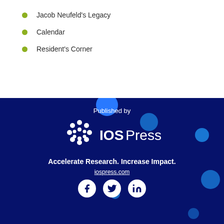Jacob Neufeld's Legacy
Calendar
Resident's Corner
[Figure (logo): IOS Press logo with dot pattern and tagline 'Accelerate Research. Increase Impact.' on dark navy background, with website iospress.com and social media icons for Facebook, Twitter, and LinkedIn]